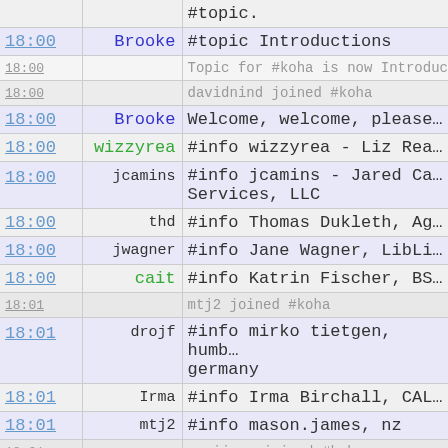| Time | Nick | Message |
| --- | --- | --- |
|  |  | #topic. |
| 18:00 | Brooke | #topic Introductions |
| 18:00 |  | Topic for #koha is now Introduc… |
| 18:00 |  | davidnind joined #koha |
| 18:00 | Brooke | Welcome, welcome, please… |
| 18:00 | wizzyrea | #info wizzyrea - Liz Rea… |
| 18:00 | jcamins | #info jcamins - Jared Ca… Services, LLC |
| 18:00 | thd | #info Thomas Dukleth, Ag… |
| 18:00 | jwagner | #info Jane Wagner, LibLi… |
| 18:00 | cait | #info Katrin Fischer, BS… |
| 18:01 |  | mtj2 joined #koha |
| 18:01 | drojf | #info mirko tietgen, humb… germany |
| 18:01 | Irma | #info Irma Birchall, CAL… |
| 18:01 | mtj2 | #info mason.james, nz |
| 18:01 |  | marijana joined #koha |